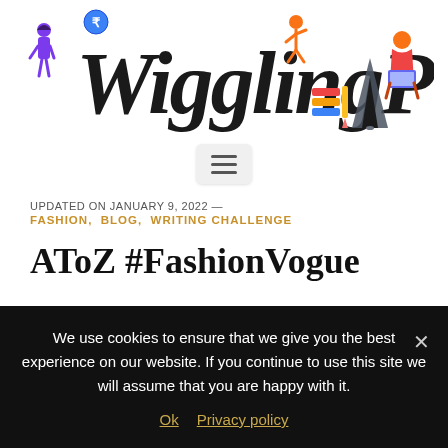[Figure (logo): WigglingPen blog logo — stylized handwritten text 'WigglingPen' in black with colorful illustrated characters: a woman in purple on left, rupee coin icon, orange running figure, stack of books, fountain pen nib, and a person with laptop on right]
[Figure (other): Hamburger/menu button (three horizontal lines) inside a light gray rounded rectangle]
UPDATED ON JANUARY 9, 2022 —
FASHION, BLOG, WRITING CHALLENGE
AToZ #FashionVogue
We use cookies to ensure that we give you the best experience on our website. If you continue to use this site we will assume that you are happy with it.
Ok   Privacy policy